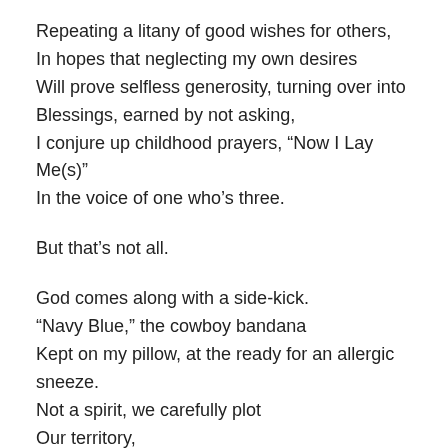Repeating a litany of good wishes for others,
In hopes that neglecting my own desires
Will prove selfless generosity, turning over into
Blessings, earned by not asking,
I conjure up childhood prayers, “Now I Lay Me(s)”
In the voice of one who’s three.

But that’s not all.

God comes along with a side-kick.
“Navy Blue,” the cowboy bandana
Kept on my pillow, at the ready for an allergic sneeze.
Not a spirit, we carefully plot
Our territory,
Guarding against contact too close for comfort,
Necessary, though unwanted, he spends the night
As well.